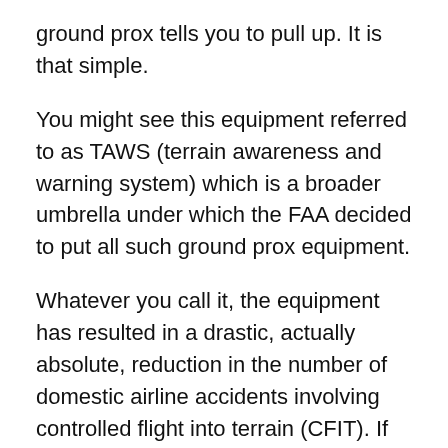ground prox tells you to pull up. It is that simple.
You might see this equipment referred to as TAWS (terrain awareness and warning system) which is a broader umbrella under which the FAA decided to put all such ground prox equipment.
Whatever you call it, the equipment has resulted in a drastic, actually absolute, reduction in the number of domestic airline accidents involving controlled flight into terrain (CFIT). If you pore over accident records you will see that there used to be a